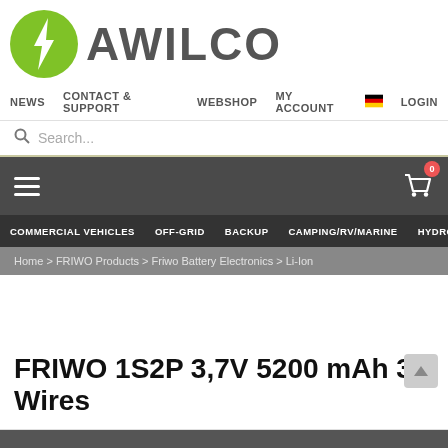[Figure (logo): AWILCO company logo with green circle containing lightning bolt icon and gray AWILCO text]
NEWS   CONTACT & SUPPORT   WEBSHOP   MY ACCOUNT   LOGIN
Search...
[Figure (infographic): Dark navigation bar with hamburger menu icon on left and shopping cart icon with badge showing 0 on right]
COMMERCIAL VEHICLES   OFF-GRID   BACKUP   CAMPING/RV/MARINE   HYDROGEN
Home > FRIWO Products > Friwo Battery Electronics > Li-Ion
FRIWO 1S2P 3,7V 5200 mAh 3 Wires